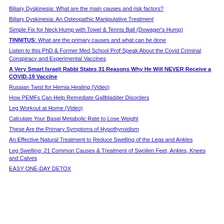Biliary Dyskinesia: What are the main causes and risk factors?
Biliary Dyskinesia: An Osteopathic Manipulative Treatment
Simple Fix for Neck Hump with Towel & Tennis Ball (Dowager's Hump)
TINNITUS: What are the primary causes and what can be done
Listen to this PhD & Former Med School Prof Speak About the Covid Criminal Conspiracy and Experimental Vaccines
A Very Smart Israeli Rabbi States 31 Reasons Why He Will NEVER Receive a COVID-19 Vaccine
Russian Twist for Hernia Healing (Video)
How PEMFs Can Help Remediate Gallbladder Disorders
Leg Workout at Home (Video)
Calculate Your Basal Metabolic Rate to Lose Weight
These Are the Primary Symptoms of Hypothyroidism
An Effective Natural Treatment to Reduce Swelling of the Legs and Ankles
Leg Swelling: 21 Common Causes & Treatment of Swollen Feet, Ankles, Knees and Calves
EASY ONE-DAY DETOX